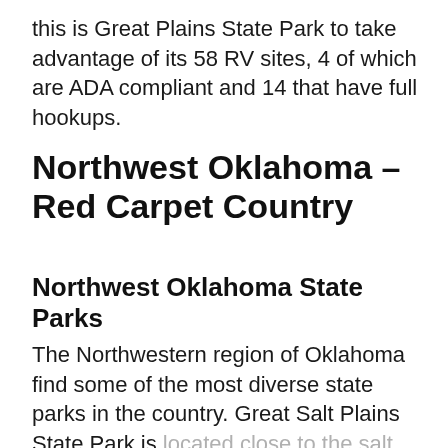this is Great Plains State Park to take advantage of its 58 RV sites, 4 of which are ADA compliant and 14 that have full hookups.
Northwest Oklahoma – Red Carpet Country
Northwest Oklahoma State Parks
The Northwestern region of Oklahoma find some of the most diverse state parks in the country. Great Salt Plains State Park is located close to the salt plains national wildlife refuge; many people hurt their RVs